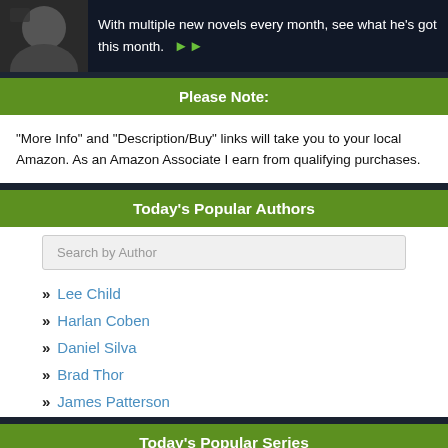[Figure (screenshot): Top banner with author photo on dark background and text about multiple new novels every month]
Please Note:
"More Info" and "Description/Buy" links will take you to your local Amazon. As an Amazon Associate I earn from qualifying purchases.
Today's Popular Authors
Search by Author
Lee Child
Harlan Coben
Daniel Silva
Brad Thor
James Patterson
Today's Popular Series
Jack Reacher